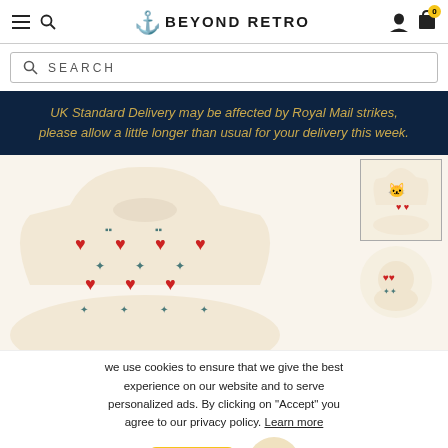Beyond Retro — navigation bar with hamburger menu, search icon, logo, user icon, cart icon
SEARCH
UK Standard Delivery may be affected by Royal Mail strikes, please allow a little longer than usual for your delivery this week.
[Figure (photo): Product photo of a cream knit sweater with red hearts and teal animal/cross pattern; thumbnail showing same sweater from back with cat motif; second partial circular thumbnail]
we use cookies to ensure that we give the best experience on our website and to serve personalized ads. By clicking on "Accept" you agree to our privacy policy. Learn more